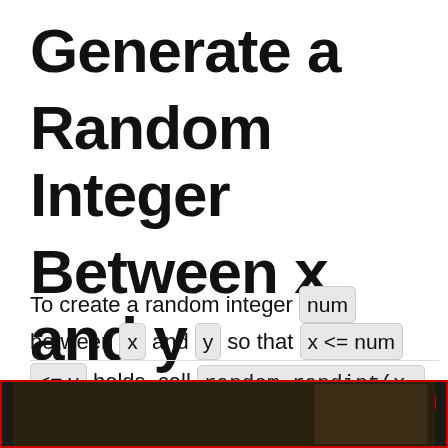Generate a Random Integer Between x and y
To create a random integer num between x and y so that x <= num <= y holds, call random.randint(x, y)
[Figure (other): Advertisement banner: 'Your next hotel is waiting for you' with a dark scenic background image, red border, play and close buttons, and a logo.]